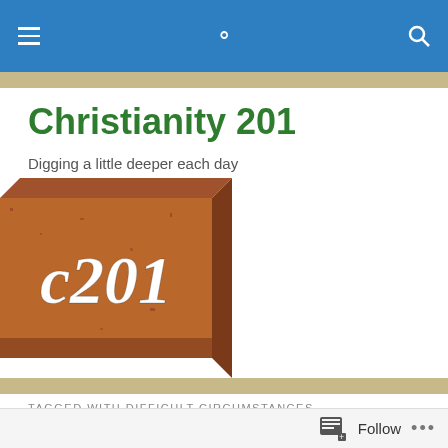Christianity 201
Digging a little deeper each day
[Figure (logo): 3D brick/block logo with text 'c201' in white italic script on a terracotta/brown textured block]
TAGGED WITH DIFFICULT CIRCUMSTANCES
God's Surprise Per...
Follow